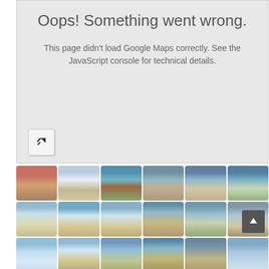Oops! Something went wrong.
This page didn't load Google Maps correctly. See the JavaScript console for technical details.
[Figure (screenshot): Google Maps error page with gray background showing error message and a small external link button in the lower left]
[Figure (photo): Grid of 18 beach/coastal thumbnail photos showing various beach scenes, likely from Tenerife or similar Spanish island location]